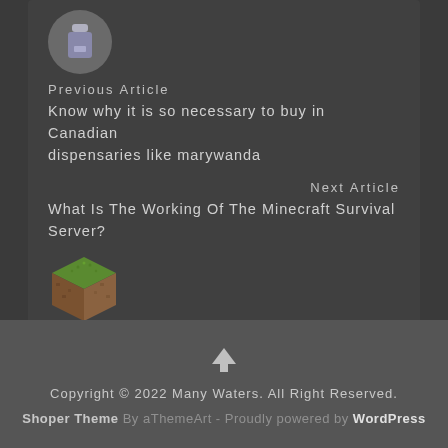[Figure (illustration): Circular avatar icon for previous article]
Previous Article
Know why it is so necessary to buy in Canadian dispensaries like marywanda
Next Article
What Is The Working Of The Minecraft Survival Server?
[Figure (illustration): Minecraft grass block cube icon]
Copyright © 2022 Many Waters. All Right Reserved. Shoper Theme By aThemeArt - Proudly powered by WordPress